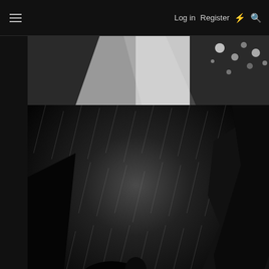≡   Log in   Register   ⚡   🔍
[Figure (photo): Black and white photograph — top portion showing bright light beams and bokeh highlights in upper right corner]
[Figure (photo): Black and white photograph — dark moody scene with rain streaks, silhouetted figures or creatures in foreground, jagged rocky shapes on the right, dramatic storm atmosphere]
Finished it on Friday. A few days I spent. Really is rather good. Although I still can't help feeling it's a little overblown much like I've always tended feel about most of the really popular stuff people feel some kind of strange incessant need to babble on about. Kind of an instinct. A peculiarity if you will. In any case next